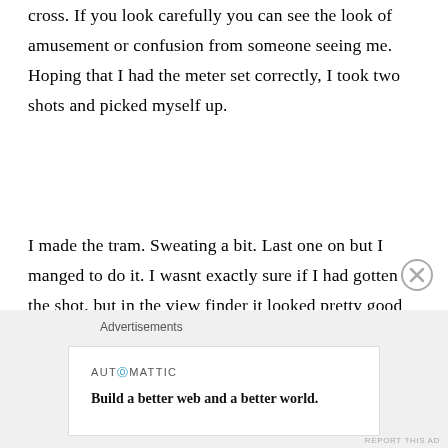cross. If you look carefully you can see the look of amusement or confusion from someone seeing me. Hoping that I had the meter set correctly, I took two shots and picked myself up.
I made the tram. Sweating a bit. Last one on but I manged to do it. I wasnt exactly sure if I had gotten the shot, but in the view finder it looked pretty good and the focus on this little camera has proven to be excellent. Later on, looking on the large screen, my feelings were confirmed...I got it and immediately included it in my newly started 365 as image number 8. You can see them all here. 365 Monochrome Project
Advertisements
[Figure (other): Automattic advertisement banner reading 'Build a better web and a better world.']